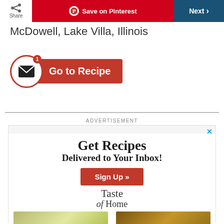Share | Save on Pinterest | Next
McDowell, Lake Villa, Illinois
[Figure (screenshot): Go to Recipe button with mail icon and notification badge]
ADVERTISEMENT
[Figure (screenshot): Taste of Home advertisement: Get Recipes Delivered to Your Inbox! Sign Up button with food photos]